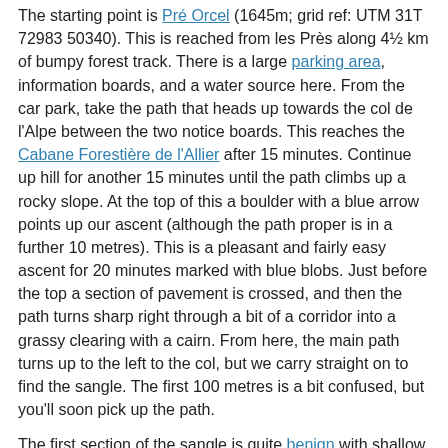The starting point is Pré Orcel (1645m; grid ref: UTM 31T 72983 50340). This is reached from les Près along 4½km of bumpy forest track. There is a large parking area, information boards, and a water source here. From the car park, take the path that heads up towards the col de l'Alpe between the two notice boards. This reaches the Cabane Forestière de l'Allier after 15 minutes. Continue up hill for another 15 minutes until the path climbs up a rocky slope. At the top of this a boulder with a blue arrow points up our ascent (although the path proper is in a further 10 metres). This is a pleasant and fairly easy ascent for 20 minutes marked with blue blobs. Just before the top a section of pavement is crossed, and then the path turns sharp right through a bit of a corridor into a grassy clearing with a cairn. From here, the main path turns up to the left to the col, but we carry straight on to find the sangle. The first 100 metres is a bit confused, but you'll soon pick up the path.
The first section of the sangle is quite benign with shallow grassy slopes liberally dotted with trees below, but after half an hour the first of four impressive cirques is reached. The second cirque is even more impressive, with the path round looking quite hairy from a distance, but it proves to be quite straightforward. After the fourth rocky cirque the path descends a grassy slope for a little way to where a boulder with blue and yellow markings indicates the exit path to the crête above, which is just three minutes away.